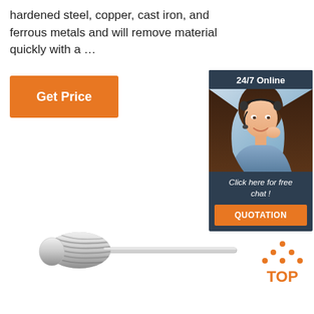hardened steel, copper, cast iron, and ferrous metals and will remove material quickly with a …
[Figure (other): Orange 'Get Price' button]
[Figure (other): 24/7 Online chat widget with woman wearing headset, 'Click here for free chat!' text, and orange QUOTATION button]
[Figure (photo): Carbide burr / rotary tool bit - cylindrical shaped cutting tool with spiral flutes and straight shank]
[Figure (other): Orange and dark 'TOP' badge with dots arranged in triangle shape above the word TOP]